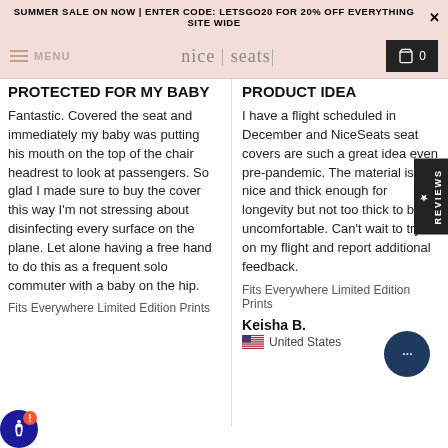SUMMER SALE ON NOW | ENTER CODE: LETSGO20 FOR 20% OFF EVERYTHING SITE WIDE
nice|seats — MENU — 0
PROTECTED FOR MY BABY
Fantastic. Covered the seat and immediately my baby was putting his mouth on the top of the chair headrest to look at passengers. So glad I made sure to buy the cover this way I'm not stressing about disinfecting every surface on the plane. Let alone having a free hand to do this as a frequent solo commuter with a baby on the hip.
Fits Everywhere Limited Edition Prints
PRODUCT IDEA
I have a flight scheduled in December and NiceSeats seat covers are such a great idea even pre-pandemic. The material is nice and thick enough for longevity but not too thick to be uncomfortable. Can't wait to tryout on my flight and report additional feedback.
Fits Everywhere Limited Edition Prints
Keisha B.
United States